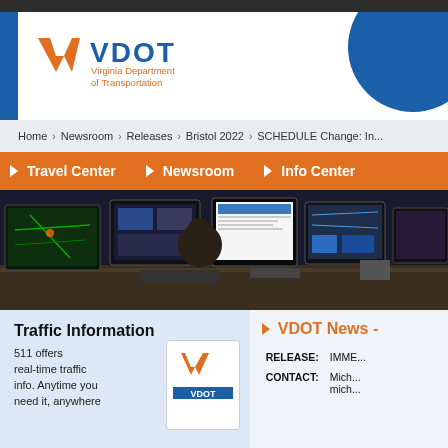[Figure (logo): VDOT Virginia Department of Transportation logo with orange checkmark-like V and blue VDOT text]
Home > Newsroom > Releases > Bristol 2022 > SCHEDULE Change: In...
▶ Travel Center  ▶ Newsroom  ▶ Info Center
[Figure (photo): Traffic control center with operator seated at workstation surrounded by multiple computer monitors showing traffic maps and camera feeds]
Traffic Information
511 offers real-time traffic info. Anytime you need it, anywhere
[Figure (logo): Small VDOT logo with orange V mark inside white box with blue bottom strip]
▶ VDOT News -
| RELEASE: | IMME... |
| CONTACT: | Mich...
mich... |